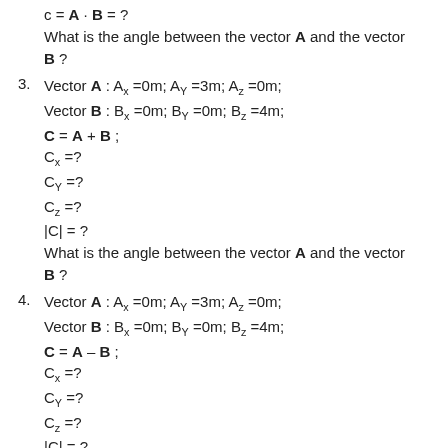c = A · B = ?
What is the angle between the vector A and the vector B ?
3. Vector A : A_x =0m; A_Y =3m; A_z =0m; Vector B : B_x =0m; B_Y =0m; B_z =4m; C = A + B ; C_x =? C_Y =? C_z =? |C| = ? What is the angle between the vector A and the vector B ?
4. Vector A : A_x =0m; A_Y =3m; A_z =0m; Vector B : B_x =0m; B_Y =0m; B_z =4m; C = A - B ; C_x =? C_Y =? C_z =? |C| = ? What is the angle between the vector A and the vector B ?